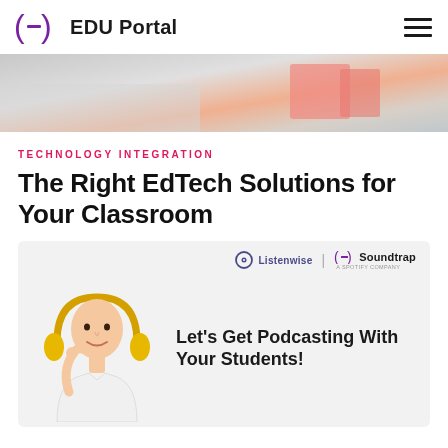EDU Portal
[Figure (photo): Hero banner image showing a notebook and cloth items on a desk, muted grey and salmon tones]
TECHNOLOGY INTEGRATION
The Right EdTech Solutions for Your Classroom
[Figure (illustration): Promotional card for Listenwise and Soundtrap (A Spotify Company) featuring an illustration of a person wearing golden headphones and text reading 'Let's Get Podcasting With Your Students!']